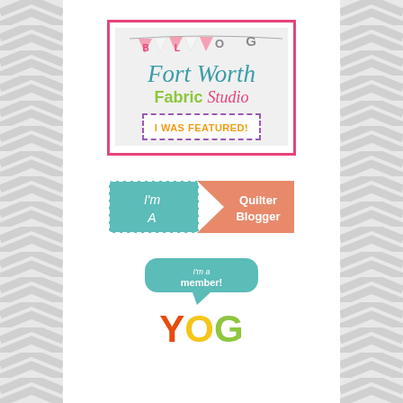[Figure (logo): Fort Worth Fabric Studio Blog - I Was Featured badge with pink border, bunting, teal script text, green and pink fabric studio text, dashed purple border with orange 'I WAS FEATURED!' text]
[Figure (logo): I'm A Quilter Blogger badge with teal dashed border left section and salmon/orange arrow pointing right with white text]
[Figure (logo): YOG membership badge with teal speech bubble saying 'I'm a member!' and colorful YOG letters in red, yellow, green]